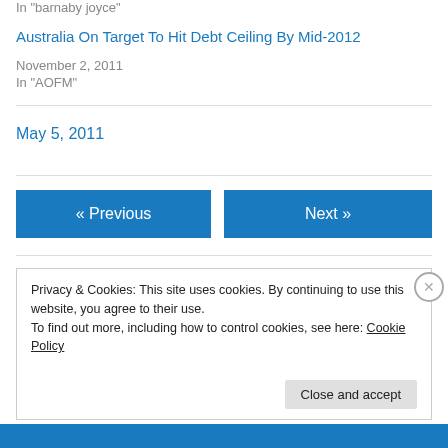In "barnaby joyce"
Australia On Target To Hit Debt Ceiling By Mid-2012
November 2, 2011
In "AOFM"
May 5, 2011
« Previous
Next »
Privacy & Cookies: This site uses cookies. By continuing to use this website, you agree to their use.
To find out more, including how to control cookies, see here: Cookie Policy
Close and accept